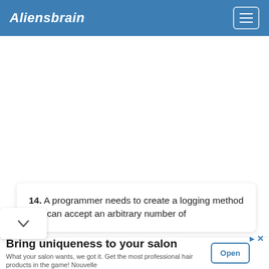Aliensbrain
[Figure (screenshot): Large white blank content area below the navigation bar]
14. A programmer needs to create a logging method that can accept an arbitrary number of
Bring uniqueness to your salon
What your salon wants, we got it. Get the most professional hair products in the game! Nouvelle
Open